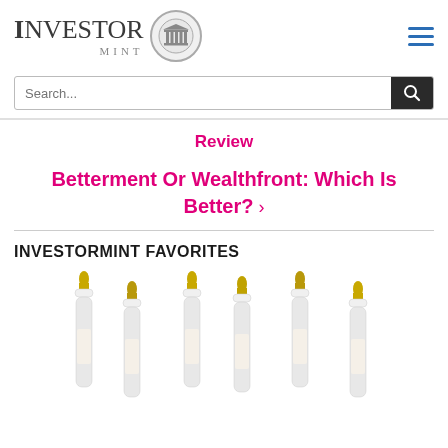INVESTOR MINT
Search...
Review
Betterment Or Wealthfront: Which Is Better? ›
INVESTORMINT FAVORITES
[Figure (photo): Row of baby bottles with white caps and golden nipples on a white background]